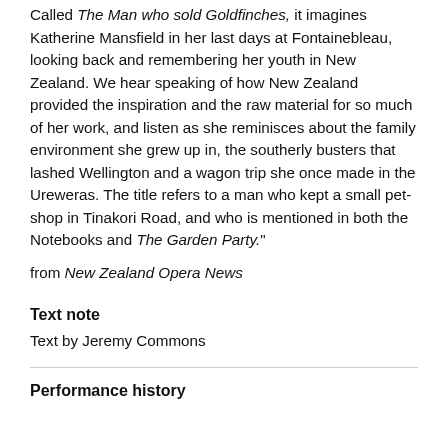Called The Man who sold Goldfinches, it imagines Katherine Mansfield in her last days at Fontainebleau, looking back and remembering her youth in New Zealand. We hear speaking of how New Zealand provided the inspiration and the raw material for so much of her work, and listen as she reminisces about the family environment she grew up in, the southerly busters that lashed Wellington and a wagon trip she once made in the Ureweras. The title refers to a man who kept a small pet-shop in Tinakori Road, and who is mentioned in both the Notebooks and The Garden Party."
from New Zealand Opera News
Text note
Text by Jeremy Commons
Performance history